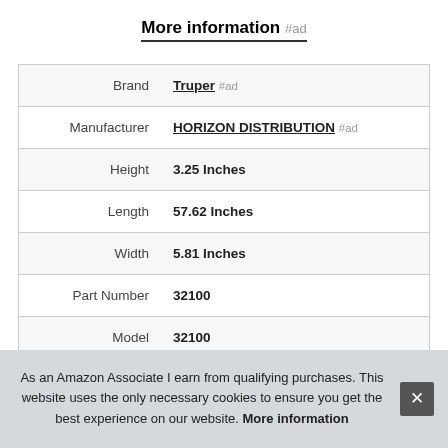More information #ad
|  |  |
| --- | --- |
| Brand | Truper #ad |
| Manufacturer | HORIZON DISTRIBUTION #ad |
| Height | 3.25 Inches |
| Length | 57.62 Inches |
| Width | 5.81 Inches |
| Part Number | 32100 |
| Model | 32100 |
As an Amazon Associate I earn from qualifying purchases. This website uses the only necessary cookies to ensure you get the best experience on our website. More information